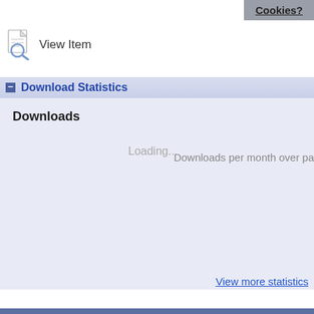View Item
Cookies?
− Download Statistics
Downloads
Loading...
Downloads per month over pa
View more statistics